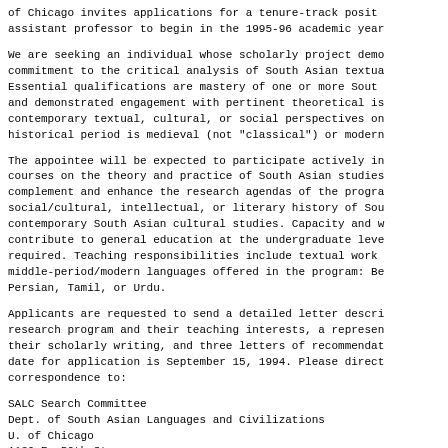of Chicago invites applications for a tenure-track posit
assistant professor to begin in the 1995-96 academic year
We are seeking an individual whose scholarly project demo
commitment to the critical analysis of South Asian textua
Essential qualifications are mastery of one or more Sout
and demonstrated engagement with pertinent theoretical is
contemporary textual, cultural, or social perspectives on
historical period is medieval (not "classical") or modern
The appointee will be expected to participate actively in
courses on the theory and practice of South Asian studies
complement and enhance the research agendas of the progra
social/cultural, intellectual, or literary history of Sou
contemporary South Asian cultural studies. Capacity and w
contribute to general education at the undergraduate leve
required. Teaching responsibilities include textual work
middle-period/modern languages offered in the program: Be
Persian, Tamil, or Urdu.
Applicants are requested to send a detailed letter descri
research program and their teaching interests, a represen
their scholarly writing, and three letters of recommendat
date for application is September 15, 1994. Please direct
correspondence to:
SALC Search Committee
Dept. of South Asian Languages and Civilizations
U. of Chicago
1130 E. 59th St.